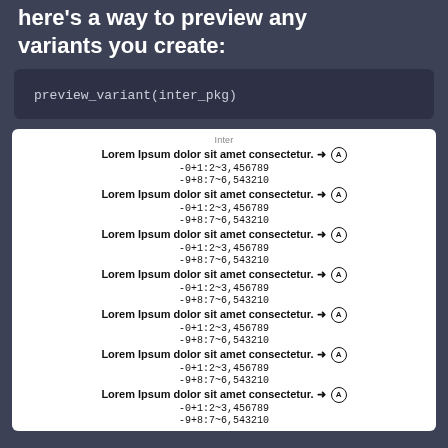here's a way to preview any variants you create:
preview_variant(inter_pkg)
[Figure (screenshot): White preview panel labeled 'Inter' showing 7 repeated rows of font specimen text: 'Lorem Ipsum dolor sit amet consectetur. → Ⓐ' followed by '-0+1:2~3,456789' and '-9+8:7~6,543210', each row in progressively larger font sizes.]